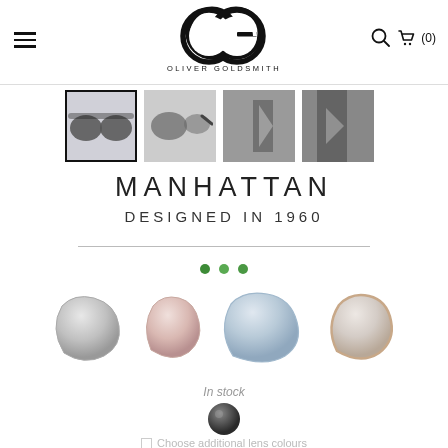[Figure (logo): Oliver Goldsmith OG logo with two overlapping circles and brand name]
[Figure (photo): Four thumbnail images of Manhattan sunglasses — front view selected, side view, and two lifestyle/model shots]
MANHATTAN
DESIGNED IN 1960
[Figure (illustration): Four lens color option swatches shown as 3D lens shapes — silver mirror, rose/pink, light blue, and rose gold edge]
In stock
[Figure (illustration): Dark grey color swatch circle]
Choose additional lens colours